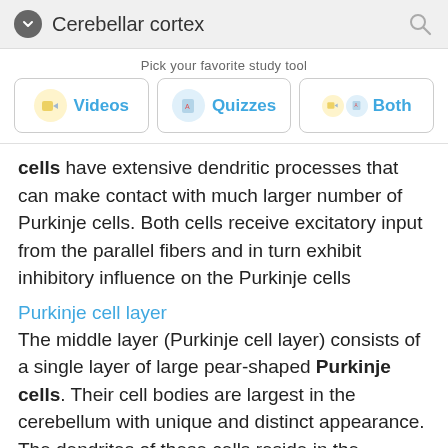Cerebellar cortex
Pick your favorite study tool
[Figure (infographic): Study tool selector with three buttons: Videos, Quizzes, Both]
cells have extensive dendritic processes that can make contact with much larger number of Purkinje cells. Both cells receive excitatory input from the parallel fibers and in turn exhibit inhibitory influence on the Purkinje cells
Purkinje cell layer
The middle layer (Purkinje cell layer) consists of a single layer of large pear-shaped Purkinje cells. Their cell bodies are largest in the cerebellum with unique and distinct appearance. The dendrites of these cells reside in the molecular layer while their axons project deep through the